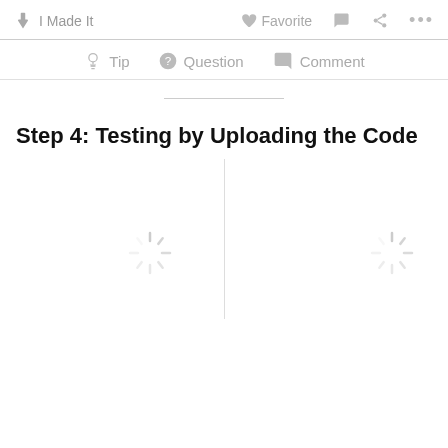I Made It   Favorite  …
Tip   Question   Comment
Step 4: Testing by Uploading the Code
[Figure (other): Two loading spinner icons indicating images are loading]